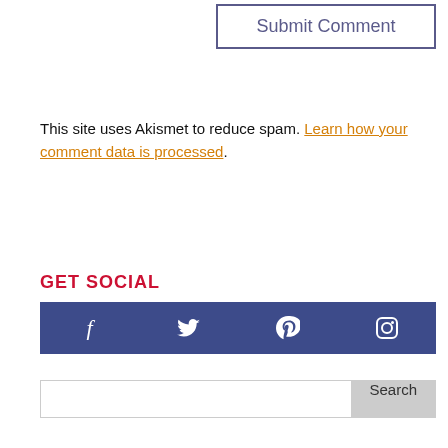[Figure (screenshot): Submit Comment button with dark blue-gray border and text]
This site uses Akismet to reduce spam. Learn how your comment data is processed.
GET SOCIAL
[Figure (infographic): Social media icon bar with Facebook, Twitter, Pinterest, and Instagram icons on dark blue background]
[Figure (screenshot): Search bar with text input and Search button]